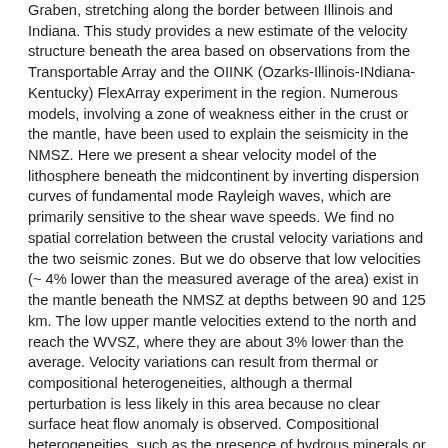Graben, stretching along the border between Illinois and Indiana. This study provides a new estimate of the velocity structure beneath the area based on observations from the Transportable Array and the OIINK (Ozarks-Illinois-INdiana-Kentucky) FlexArray experiment in the region. Numerous models, involving a zone of weakness either in the crust or the mantle, have been used to explain the seismicity in the NMSZ. Here we present a shear velocity model of the lithosphere beneath the midcontinent by inverting dispersion curves of fundamental mode Rayleigh waves, which are primarily sensitive to the shear wave speeds. We find no spatial correlation between the crustal velocity variations and the two seismic zones. But we do observe that low velocities (~ 4% lower than the measured average of the area) exist in the mantle beneath the NMSZ at depths between 90 and 125 km. The low upper mantle velocities extend to the north and reach the WVSZ, where they are about 3% lower than the average. Velocity variations can result from thermal or compositional heterogeneities, although a thermal perturbation is less likely in this area because no clear surface heat flow anomaly is observed. Compositional heterogeneities, such as the presence of hydrous minerals or contamination by enriched mantle from a plume can reduce seismic velocities as well as the